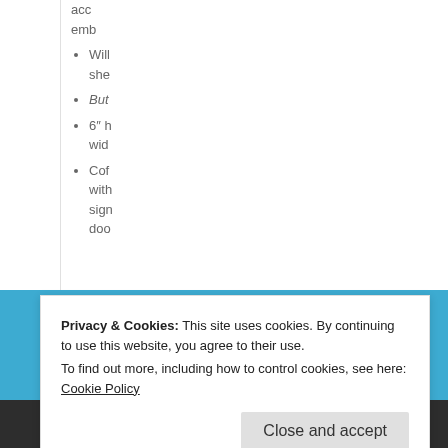acc emb
Will she
But
6" h wid
Cof with sign doo
Privacy & Cookies: This site uses cookies. By continuing to use this website, you agree to their use.
To find out more, including how to control cookies, see here: Cookie Policy
Close and accept